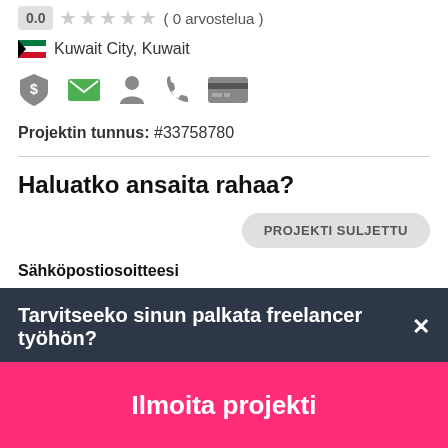Pistoa asiakkaosta:
0.0 ★★★★★ ( 0 arvostelua )
Kuwait City, Kuwait
[Figure (infographic): Row of icons: shield with dollar, green envelope, person silhouette, phone, credit card]
Projektin tunnus: #33758780
Haluatko ansaita rahaa?
PROJEKTI SULJETTU
Sähköpostiosoitteesi
Tarvitseeko sinun palkata freelancer työhön?
Ilmoita projekti